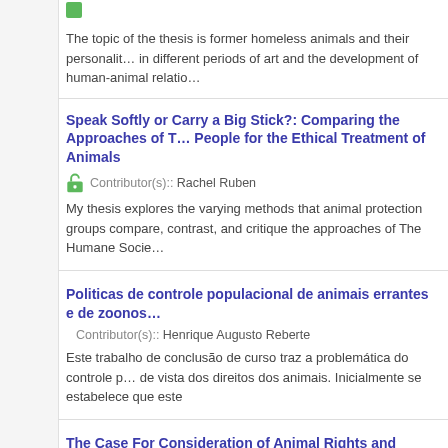The topic of the thesis is former homeless animals and their personalities in different periods of art and the development of human-animal relations
Speak Softly or Carry a Big Stick?: Comparing the Approaches of T... People for the Ethical Treatment of Animals
Contributor(s):: Rachel Ruben
My thesis explores the varying methods that animal protection groups compare, contrast, and critique the approaches of The Humane Socie...
Politicas de controle populacional de animais errantes e de zoonos...
Contributor(s):: Henrique Augusto Reberte
Este trabalho de conclusão de curso traz a problemática do controle p... de vista dos direitos dos animais. Inicialmente se estabelece que este
The Case For Consideration of Animal Rights and Ethics to Reform...
Contributor(s):: Nicholas Ian Waychoff
Necroeconomics: Power, Ethics, and the Political Economy of Hum...
Contributor(s):: Jan Dutkiewicz